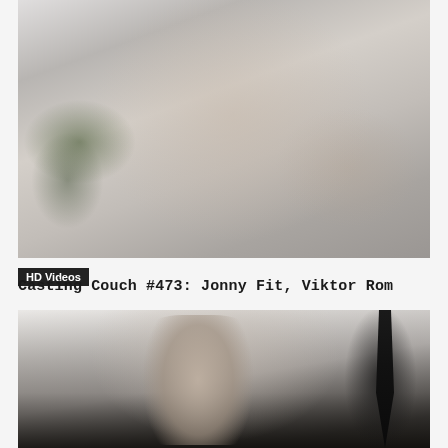[Figure (photo): Two men on a bed in an intimate scene with plants and wall art visible in the background]
HD Videos
Casting Couch #473: Jonny Fit, Viktor Rom
[Figure (photo): Muscular bald man with black tie visible, photographed from above against a dark background]